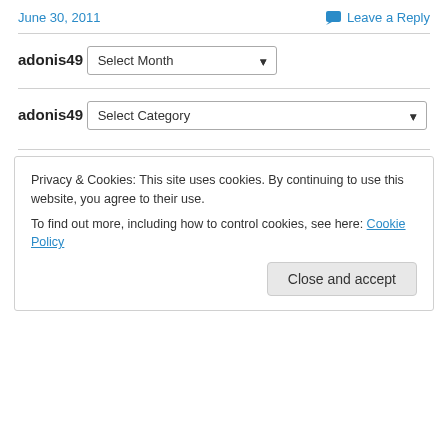June 30, 2011
Leave a Reply
adonis49
[Figure (other): Select Month dropdown widget]
adonis49
[Figure (other): Select Category dropdown widget]
Privacy & Cookies: This site uses cookies. By continuing to use this website, you agree to their use.
To find out more, including how to control cookies, see here: Cookie Policy
Close and accept